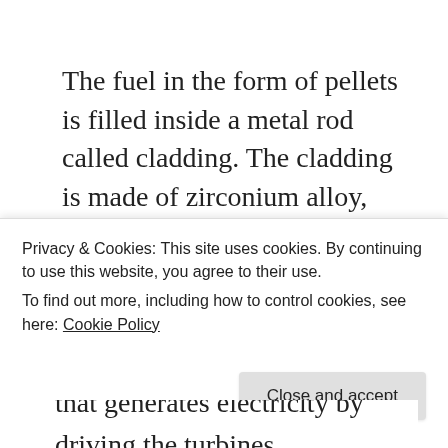The fuel in the form of pellets is filled inside a metal rod called cladding. The cladding is made of zirconium alloy, and it completely seals the fuel. Fuel pins in the form bundles are kept in the reactor core. Several hundred fuel pins that are assembled in the core starts the chain reaction through fission process and heat is generated.
The fuel bundles have core through which the...
Privacy & Cookies: This site uses cookies. By continuing to use this website, you agree to their use.
To find out more, including how to control cookies, see here: Cookie Policy
that generates electricity by driving the turbines.